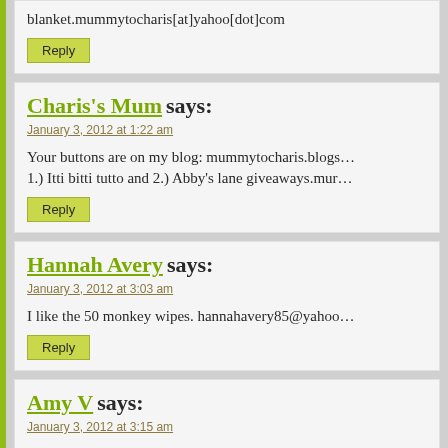blanket.mummytocharis[at]yahoo[dot]com
Reply
Charis's Mum says:
January 3, 2012 at 1:22 am
Your buttons are on my blog: mummytocharis.blogs... 1.) Itti bitti tutto and 2.) Abby's lane giveaways.mur...
Reply
Hannah Avery says:
January 3, 2012 at 3:03 am
I like the 50 monkey wipes. hannahavery85@yahoo...
Reply
Amy V says:
January 3, 2012 at 3:15 am